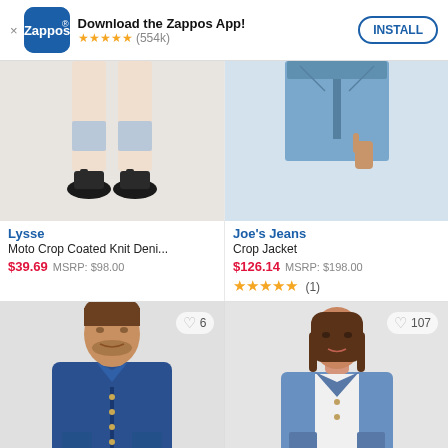Download the Zappos App! ★★★★★ (554k) INSTALL
[Figure (photo): Cropped lower legs wearing black sandals on light background]
Lysse
Moto Crop Coated Knit Deni...
$39.69  MSRP: $98.00
[Figure (photo): Cropped torso wearing light wash denim jeans]
Joe's Jeans
Crop Jacket
$126.14  MSRP: $198.00
★★★★★ (1)
[Figure (photo): Man wearing blue denim jacket, wish count 6]
[Figure (photo): Woman wearing light blue denim jacket, wish count 107]